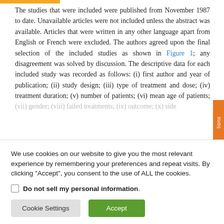The studies that were included were published from November 1987 to date. Unavailable articles were not included unless the abstract was available. Articles that were written in any other language apart from English or French were excluded. The authors agreed upon the final selection of the included studies as shown in Figure 1; any disagreement was solved by discussion. The descriptive data for each included study was recorded as follows: (i) first author and year of publication; (ii) study design; (iii) type of treatment and dose; (iv) treatment duration; (v) number of patients; (vi) mean age of patients; (vii) gender; (viii) failed treatments; (ix) outcome; (x) side
We use cookies on our website to give you the most relevant experience by remembering your preferences and repeat visits. By clicking "Accept", you consent to the use of ALL the cookies.
Do not sell my personal information.